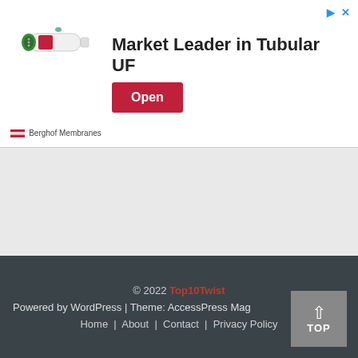[Figure (illustration): Advertisement banner for Berghof Membranes showing a tubular membrane filter product image with text 'Market Leader in Tubular UF' and an Open button]
© 2022 Top10Twist
Powered by WordPress | Theme: AccessPress Mag
Home | About | Contact | Privacy Policy